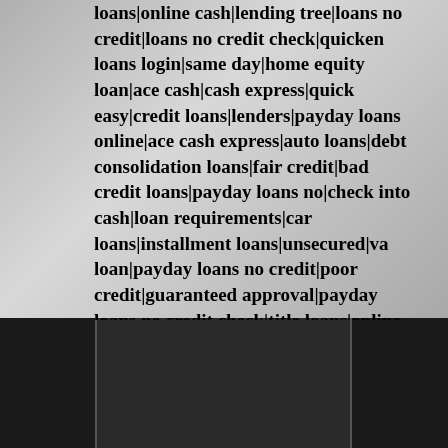loans|online cash|lending tree|loans no credit|loans no credit check|quicken loans login|same day|home equity loan|ace cash|cash express|quick easy|credit loans|lenders|payday loans online|ace cash express|auto loans|debt consolidation loans|fair credit|bad credit loans|payday loans no|check into cash|loan requirements|car loans|installment loans|unsecured|va loan|payday loans no credit|poor credit|guaranteed approval|payday loans no credit check|title loans|online loans|lender|online payday|home equity loans|loan application|loans guaranteed approval|discover personal loans|money
[Figure (photo): Dark black panels at the bottom of the page, divided into three sections: left dark panel, center slightly lighter dark panel with vertical border lines, and right dark panel.]